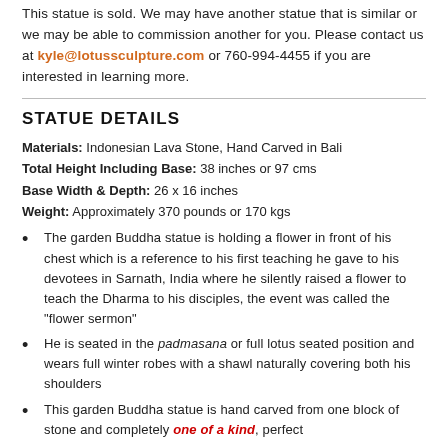This statue is sold. We may have another statue that is similar or we may be able to commission another for you. Please contact us at kyle@lotussculpture.com or 760-994-4455 if you are interested in learning more.
STATUE DETAILS
Materials: Indonesian Lava Stone, Hand Carved in Bali
Total Height Including Base: 38 inches or 97 cms
Base Width & Depth: 26 x 16 inches
Weight: Approximately 370 pounds or 170 kgs
The garden Buddha statue is holding a flower in front of his chest which is a reference to his first teaching he gave to his devotees in Sarnath, India where he silently raised a flower to teach the Dharma to his disciples, the event was called the "flower sermon"
He is seated in the padmasana or full lotus seated position and wears full winter robes with a shawl naturally covering both his shoulders
This garden Buddha statue is hand carved from one block of stone and completely one of a kind, perfect